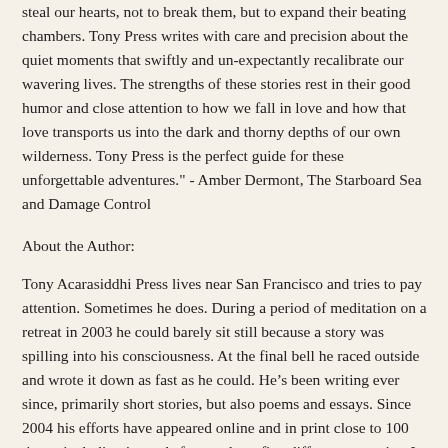steal our hearts, not to break them, but to expand their beating chambers. Tony Press writes with care and precision about the quiet moments that swiftly and un-expectantly recalibrate our wavering lives. The strengths of these stories rest in their good humor and close attention to how we fall in love and how that love transports us into the dark and thorny depths of our own wilderness. Tony Press is the perfect guide for these unforgettable adventures." - Amber Dermont, The Starboard Sea and Damage Control
About the Author:
Tony Acarasiddhi Press lives near San Francisco and tries to pay attention. Sometimes he does. During a period of meditation on a retreat in 2003 he could barely sit still because a story was spilling into his consciousness. At the final bell he raced outside and wrote it down as fast as he could. He’s been writing ever since, primarily short stories, but also poems and essays. Since 2004 his efforts have appeared online and in print close to 100 times, including journals from at least five different countries. In 2014, Boston Literary Magazine nominated one of his stories for the Pushcart Prize. A few years earlier, JMWW had nominated another story for